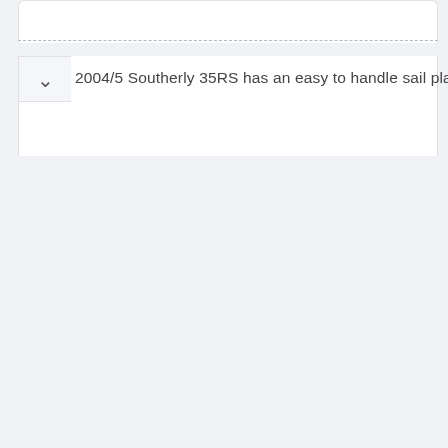2004/5 Southerly 35RS has an easy to handle sail plan